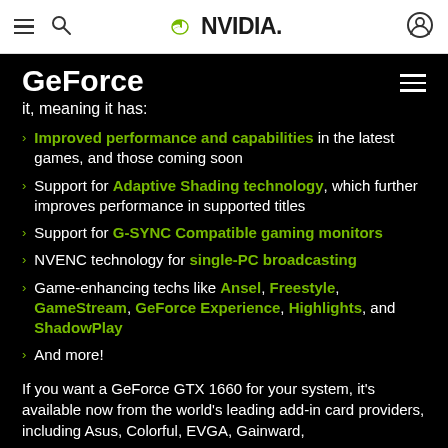NVIDIA navigation bar with hamburger menu, search, NVIDIA logo, and user icon
GeForce
it, meaning it has:
Improved performance and capabilities in the latest games, and those coming soon
Support for Adaptive Shading technology, which further improves performance in supported titles
Support for G-SYNC Compatible gaming monitors
NVENC technology for single-PC broadcasting
Game-enhancing techs like Ansel, Freestyle, GameStream, GeForce Experience, Highlights, and ShadowPlay
And more!
If you want a GeForce GTX 1660 for your system, it's available now from the world's leading add-in card providers, including Asus, Colorful, EVGA, Gainward,